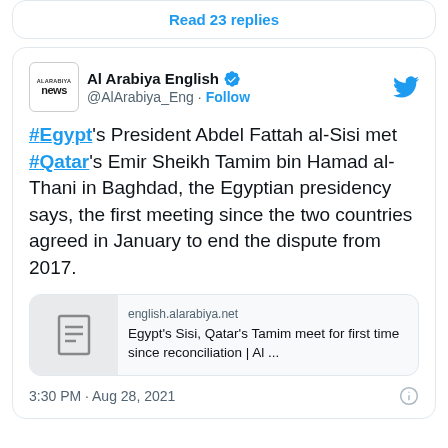Read 23 replies
Al Arabiya English @AlArabiya_Eng · Follow
#Egypt's President Abdel Fattah al-Sisi met #Qatar's Emir Sheikh Tamim bin Hamad al-Thani in Baghdad, the Egyptian presidency says, the first meeting since the two countries agreed in January to end the dispute from 2017.
english.alarabiya.net
Egypt's Sisi, Qatar's Tamim meet for first time since reconciliation | Al ...
3:30 PM · Aug 28, 2021